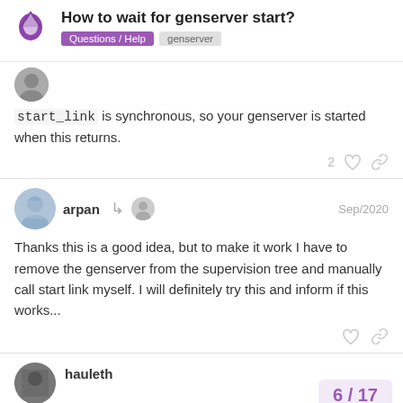How to wait for genserver start? Questions / Help  genserver
start_link is synchronous, so your genserver is started when this returns.
2 ♡ 🔗
arpan  Sep/2020
Thanks this is a good idea, but to make it work I have to remove the genserver from the supervision tree and manually call start link myself. I will definitely try this and inform if this works...
hauleth
6 / 17